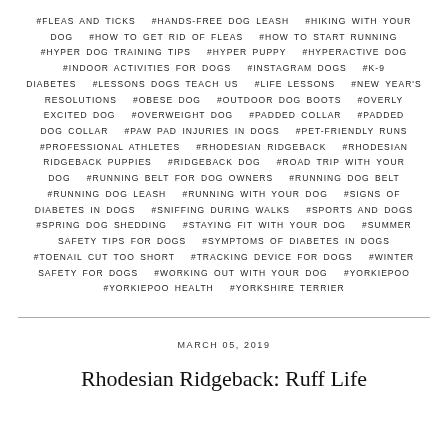#FLEAS AND TICKS  #HANDS-FREE DOG LEASH  #HIKING WITH YOUR DOG  #HOW TO GET RID OF FLEAS  #HOW TO START RUNNING  #HYPER DOG TRAINING TIPS  #HYPER PUPPY  #HYPERACTIVE DOG  #INDOOR ACTIVITIES FOR DOGS  #INSTAGRAM DOGS  #K-9 DIABETES  #LESSONS DOGS TEACH US  #LIFE LESSONS  #NEW YEAR'S RESOLUTIONS  #OBESE DOG  #OUTDOOR DOG BOOTS  #OVERLY EXCITED DOG  #OVERWEIGHT DOG  #PADDED COLLAR  #PADDED DOG COLLAR  #PAW PAD INJURIES IN DOGS  #PET-FRIENDLY RUNS  #PROFESSIONAL ATHLETES  #RHODESIAN RIDGEBACK  #RHODESIAN RIDGEBACK PUPPIES  #RIDGEBACK DOG  #ROAD TRIP WITH YOUR DOG  #RUNNING BELT FOR DOG OWNERS  #RUNNING DOG BELT  #RUNNING DOG LEASH  #RUNNING WITH YOUR DOG  #SIGNS OF DIABETES IN DOGS  #SNIFFING DURING WALKS  #SPORTS AND DOGS  #SPRING DOG SHEDDING  #STAYING FIT WITH YOUR DOG  #SUMMER SAFETY TIPS FOR DOGS  #SYMPTOMS OF DIABETES IN DOGS  #TOENAIL CUT TOO SHORT  #TRACKING DEVICE FOR DOGS  #WINTER SAFETY FOR DOGS  #WORKING OUT WITH YOUR DOG  #YORKIEPOO  #YORKIEPOO HEALTH  #YORKSHIRE TERRIER
MARCH 05, 2019
Rhodesian Ridgeback: Ruff Life